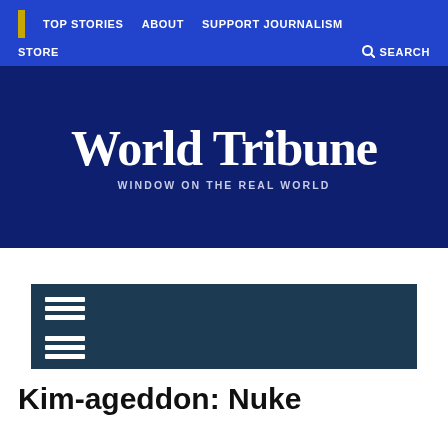TOP STORIES  ABOUT  SUPPORT JOURNALISM  STORE  SEARCH
[Figure (logo): World Tribune newspaper logo with blackletter/Gothic font title 'World Tribune' and subtitle 'WINDOW ON THE REAL WORLD' on dark blue background]
[Figure (other): Dark teal section bar with two hamburger menu icons (three horizontal lines each)]
Kim-ageddon: Nuke